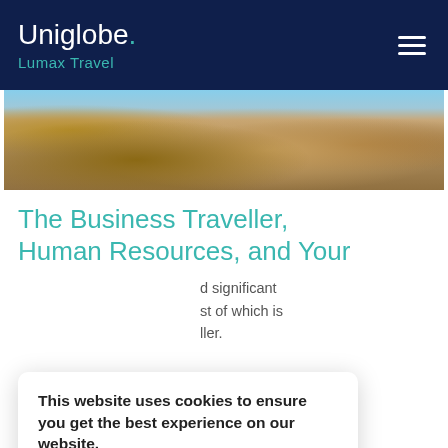Uniglobe. Lumax Travel
[Figure (photo): Close-up photo of sandy beach pebbles and rocks with warm golden/brown tones]
The Business Traveller, Human Resources, and Your
d significant st of which is ller.
This website uses cookies to ensure you get the best experience on our website. Learn more about cookies
Agree
Read More